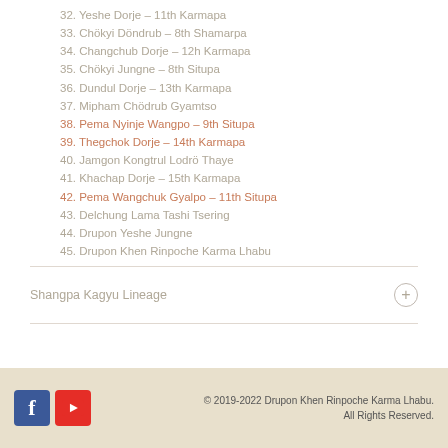32. Yeshe Dorje – 11th Karmapa
33. Chökyi Döndrub – 8th Shamarpa
34. Changchub Dorje – 12h Karmapa
35. Chökyi Jungne – 8th Situpa
36. Dundul Dorje – 13th Karmapa
37. Mipham Chödrub Gyamtso
38. Pema Nyinje Wangpo – 9th Situpa
39. Thegchok Dorje – 14th Karmapa
40. Jamgon Kongtrul Lodrö Thaye
41. Khachap Dorje – 15th Karmapa
42. Pema Wangchuk Gyalpo – 11th Situpa
43. Delchung Lama Tashi Tsering
44. Drupon Yeshe Jungne
45. Drupon Khen Rinpoche Karma Lhabu
Shangpa Kagyu Lineage
© 2019-2022 Drupon Khen Rinpoche Karma Lhabu. All Rights Reserved.